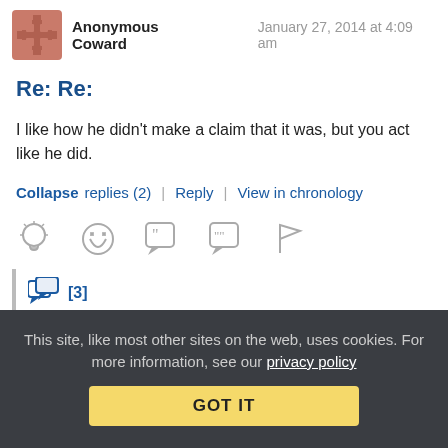Anonymous Coward  January 27, 2014 at 4:09 am
Re: Re:
I like how he didn't make a claim that it was, but you act like he did.
Collapse replies (2) | Reply | View in chronology
[Figure (infographic): Row of action icons: lightbulb (insightful), laughing face (funny), speech bubble with open-quote (informative), speech bubble with double-quote (interesting), flag (report)]
[3]
This site, like most other sites on the web, uses cookies. For more information, see our privacy policy
GOT IT